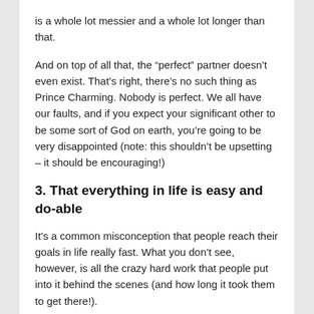is a whole lot messier and a whole lot longer than that.
And on top of all that, the “perfect” partner doesn’t even exist. That’s right, there’s no such thing as Prince Charming. Nobody is perfect. We all have our faults, and if you expect your significant other to be some sort of God on earth, you’re going to be very disappointed (note: this shouldn’t be upsetting – it should be encouraging!)
3. That everything in life is easy and do-able
It’s a common misconception that people reach their goals in life really fast. What you don’t see, however, is all the crazy hard work that people put into it behind the scenes (and how long it took them to get there!).